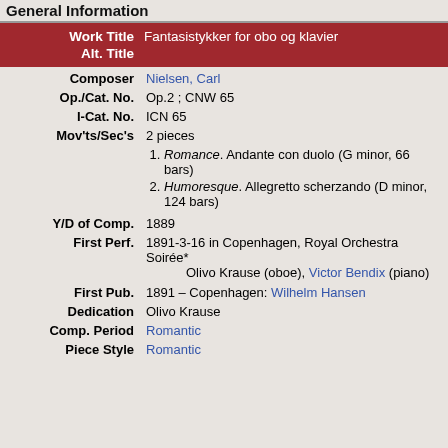General Information
| Field | Value |
| --- | --- |
| Work Title | Fantasistykker for obo og klavier |
| Alt. Title |  |
| Composer | Nielsen, Carl |
| Op./Cat. No. | Op.2 ; CNW 65 |
| I-Cat. No. | ICN 65 |
| Mov'ts/Sec's | 2 pieces
1. Romance. Andante con duolo (G minor, 66 bars)
2. Humoresque. Allegretto scherzando (D minor, 124 bars) |
| Y/D of Comp. | 1889 |
| First Perf. | 1891-3-16 in Copenhagen, Royal Orchestra Soirée*
Olivo Krause (oboe), Victor Bendix (piano) |
| First Pub. | 1891 – Copenhagen: Wilhelm Hansen |
| Dedication | Olivo Krause |
| Comp. Period | Romantic |
| Piece Style | Romantic |